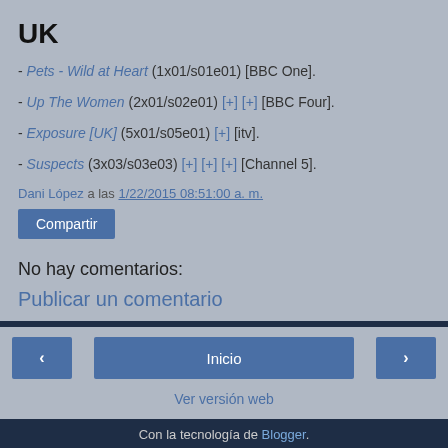UK
- Pets - Wild at Heart (1x01/s01e01) [BBC One].
- Up The Women (2x01/s02e01) [+] [+] [BBC Four].
- Exposure [UK] (5x01/s05e01) [+] [itv].
- Suspects (3x03/s03e03) [+] [+] [+] [Channel 5].
Dani López a las 1/22/2015 08:51:00 a. m.
Compartir
No hay comentarios:
Publicar un comentario
‹
Inicio
›
Ver versión web
Con la tecnología de Blogger.